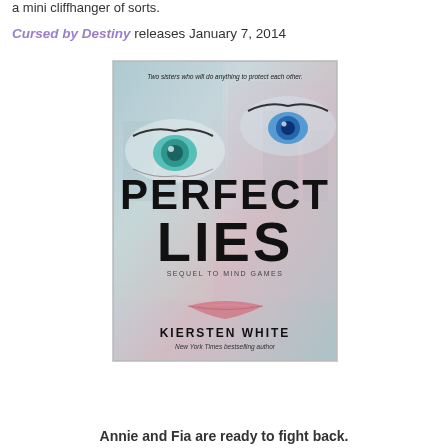a mini cliffhanger of sorts.
Cursed by Destiny releases January 7, 2014
[Figure (illustration): Book cover for 'Perfect Lies' by Kiersten White. Shows two sets of eyes (one teal/green, one blue) close up on a woman's face with a pastel multicolored background featuring a grid-like city overlay. Large bold text reads 'PERFECT LIES'. Tagline: 'Two sisters who will do anything to protect each other.' Subtitle: 'SEQUEL TO MIND GAMES'. Author: 'KIERSTEN WHITE, New York Times bestselling author'.]
Annie and Fia are ready to fight back.